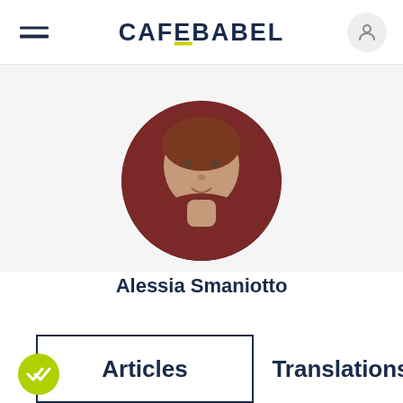CAFEBABEL
[Figure (photo): Circular profile photo of Alessia Smaniotto, showing a person with reddish clothing]
Alessia Smaniotto
Articles
Translations